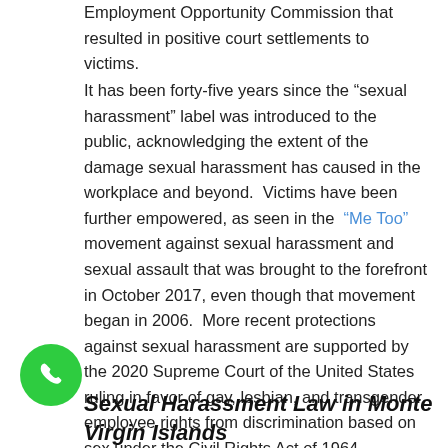Employment Opportunity Commission that resulted in positive court settlements to victims.
It has been forty-five years since the “sexual harassment” label was introduced to the public, acknowledging the extent of the damage sexual harassment has caused in the workplace and beyond.  Victims have been further empowered, as seen in the “Me Too” movement against sexual harassment and sexual assault that was brought to the forefront in October 2017, even though that movement began in 2006.  More recent protections against sexual harassment are supported by the 2020 Supreme Court of the United States ruling in favor of gay, lesbian, and transgender employee rights from discrimination based on sex under the Civil Rights Act of 1964.
Sexual Harassment Law in Monte Virgin Islands